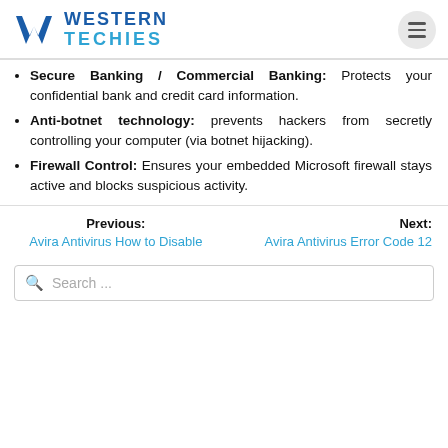Western Techies
Secure Banking / Commercial Banking: Protects your confidential bank and credit card information.
Anti-botnet technology: prevents hackers from secretly controlling your computer (via botnet hijacking).
Firewall Control: Ensures your embedded Microsoft firewall stays active and blocks suspicious activity.
Previous: Avira Antivirus How to Disable
Next: Avira Antivirus Error Code 12
Search ...